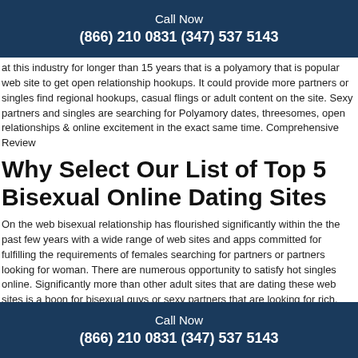Call Now
(866) 210 0831 (347) 537 5143
at this industry for longer than 15 years that is a polyamory that is popular web site to get open relationship hookups. It could provide more partners or singles find regional hookups, casual flings or adult content on the site. Sexy partners and singles are searching for Polyamory dates, threesomes, open relationships & online excitement in the exact same time. Comprehensive Review
Why Select Our List of Top 5 Bisexual Online Dating Sites
On the web bisexual relationship has flourished significantly within the the past few years with a wide range of web sites and apps committed for fulfilling the requirements of females searching for partners or partners looking for woman. There are numerous opportunity to satisfy hot singles online. Significantly more than other adult sites that are dating these web sites is a boon for bisexual guys or sexy partners that
Call Now
(866) 210 0831 (347) 537 5143